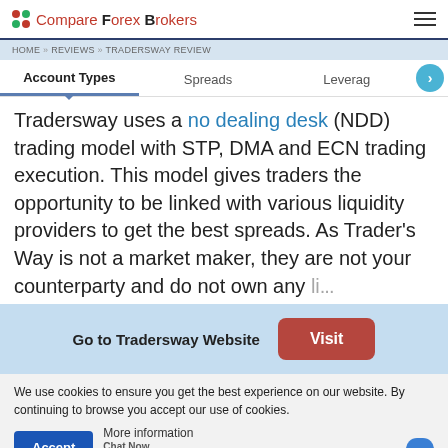Compare Forex Brokers
HOME » REVIEWS » TRADERSWAY REVIEW
Account Types | Spreads | Leverage
Tradersway uses a no dealing desk (NDD) trading model with STP, DMA and ECN trading execution. This model gives traders the opportunity to be linked with various liquidity providers to get the best spreads. As Trader's Way is not a market maker, they are not your counterparty and do not own any liquidity.
Go to Tradersway Website  Visit
We use cookies to ensure you get the best experience on our website. By continuing to browse you accept our use of cookies.
Accept  More information